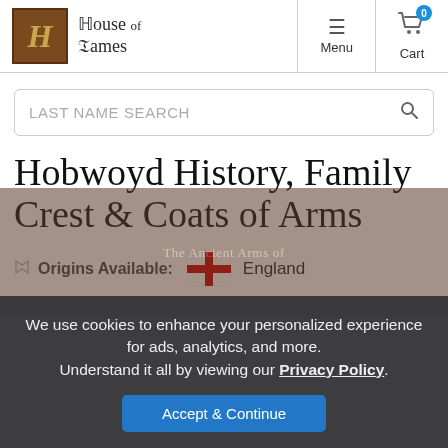House of Names — Menu | Cart (0)
LAST NAME SEARCH
Hobwoyd History, Family Crest & Coats of Arms
Origins Available:  England
We use cookies to enhance your personalized experience for ads, analytics, and more. Understand it all by viewing our Privacy Policy. Accept & Continue